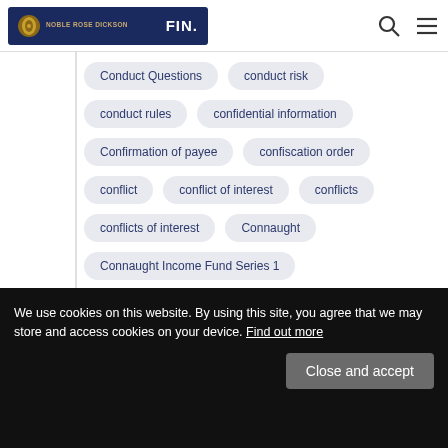Noble Rose Dickson | FIN.
Conduct Questions
conduct risk
conduct rules
confidential information
Confirmation of payee
confiscation order
conflict
conflict of interest
conflicts
conflicts of interest
Connaught
Connaught Income Fund Series 1
connected contracts
consent
We use cookies on this website. By using this site, you agree that we may store and access cookies on your device. Find out more
Close and accept